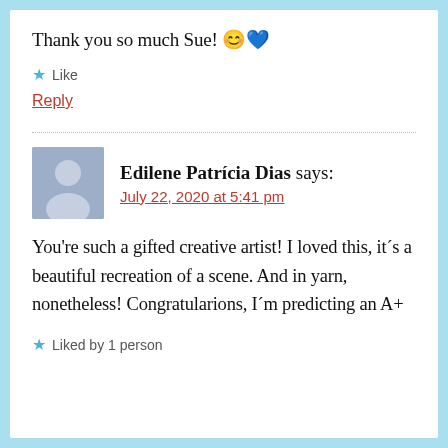Thank you so much Sue! 😊 💙
★ Like
Reply
Edilene Patrícia Dias says:
July 22, 2020 at 5:41 pm
You're such a gifted creative artist! I loved this, it´s a beautiful recreation of a scene. And in yarn, nonetheless! Congratularions, I´m predicting an A+
★ Liked by 1 person